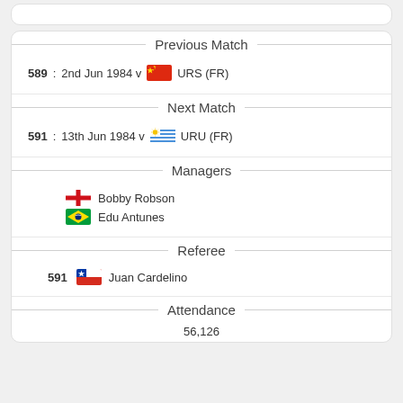Previous Match
589: 2nd Jun 1984 v URS (FR)
Next Match
591: 13th Jun 1984 v URU (FR)
Managers
Bobby Robson
Edu Antunes
Referee
591  Juan Cardelino
Attendance
56,126